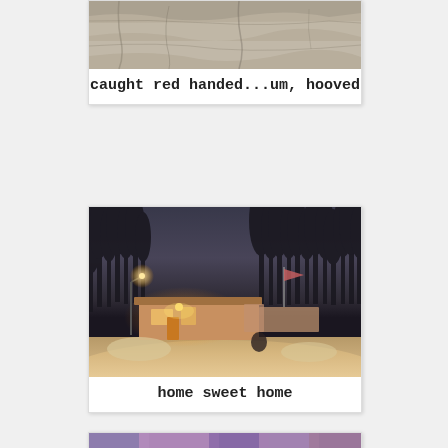[Figure (photo): Partially visible photo of stone/rock texture, top portion of a polaroid-style card]
caught red handed...um, hooved
[Figure (photo): Night winter scene of a house with snow on the ground, bare trees in background, warm interior lights glowing, a flag pole visible, polaroid-style card]
home sweet home
[Figure (photo): Partially visible photo at bottom of page, purple/pink tones, beginning of another polaroid-style card]